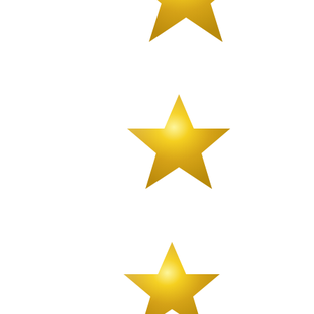[Figure (illustration): Three golden/yellow five-pointed stars arranged vertically in a diagonal-offset column, decreasing in size from top to bottom. The stars have a shiny metallic gold gradient appearance. The top star is partially cropped at the top edge. The stars are positioned in the left-center area of the image on a white background.]